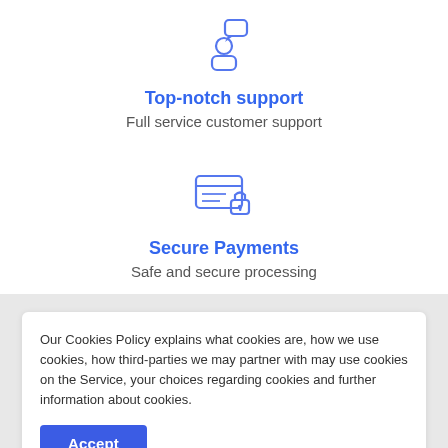[Figure (illustration): Blue outline icon of a person with a speech/chat bubble above their head]
Top-notch support
Full service customer support
[Figure (illustration): Blue outline icon of a credit card with lines and a padlock, representing secure payment]
Secure Payments
Safe and secure processing
Our Cookies Policy explains what cookies are, how we use cookies, how third-parties we may partner with may use cookies on the Service, your choices regarding cookies and further information about cookies.
Accept